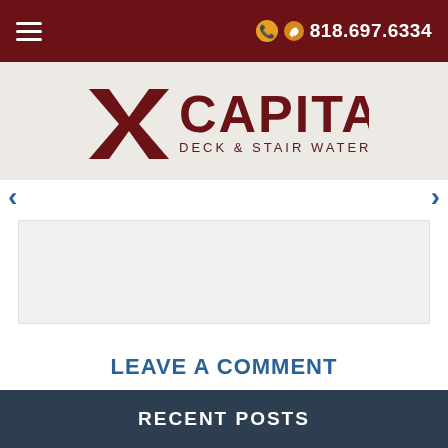☰  818.697.6334
[Figure (logo): Capital Deck & Stair Waterproofing logo with stylized X mark in dark red and large CAPITAL text]
[Figure (other): Slider navigation arrows left and right]
[Figure (other): Gray content placeholder box]
LEAVE A COMMENT
You must be logged in to post a comment.
RECENT POSTS